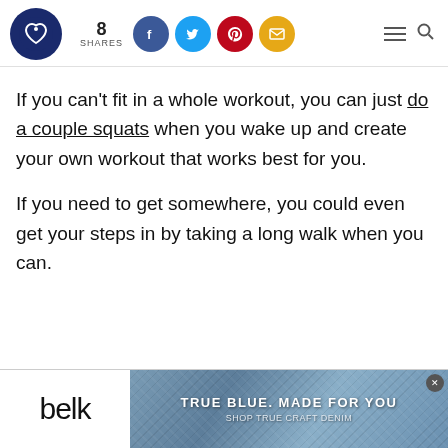8 SHARES — social share icons (Facebook, Twitter, Pinterest, Email), hamburger menu, search
If you can't fit in a whole workout, you can just do a couple squats when you wake up and create your own workout that works best for you.
If you need to get somewhere, you could even get your steps in by taking a long walk when you can.
[Figure (screenshot): Belk advertisement banner — 'TRUE BLUE. MADE FOR YOU. Shop True Craft Denim' with denim fabric background]